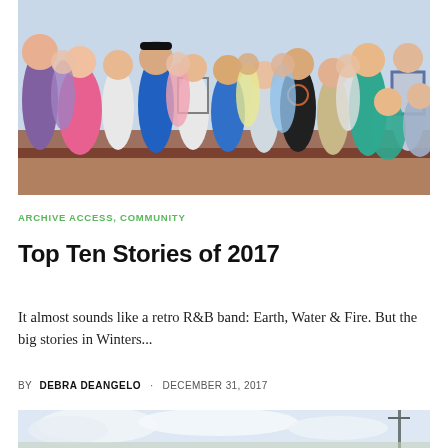[Figure (photo): A crowd of children standing and watching something, outdoors, in front of a wooden bench or stage.]
ARCHIVE ACCESS, COMMUNITY
Top Ten Stories of 2017
It almost sounds like a retro R&B band: Earth, Water & Fire. But the big stories in Winters...
BY  DEBRA DEANGELO  ·  DECEMBER 31, 2017
[Figure (photo): Partial photo below article preview, showing sky and possibly utility poles or structure.]